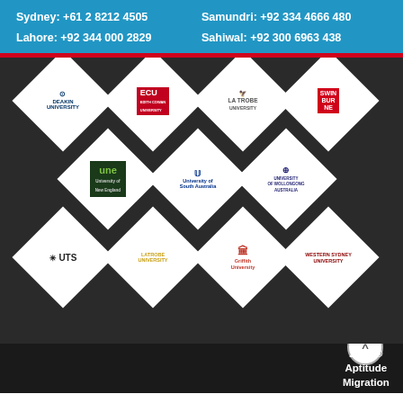Sydney: +61 2 8212 4505   Samundri: +92 334 4666 480   Lahore: +92 344 000 2829   Sahiwal: +92 300 6963 438
[Figure (logo): Grid of university logos arranged in diamond/rhombus shapes on a dark background: Deakin University, ECU (Edith Cowan University), La Trobe University, Swinburne University, University of New England (UNE), University of South Australia (UniSA), University of Wollongong, UTS (University of Technology Sydney), La Trobe University, Griffith University, Western Sydney University]
Copyright 2021 © Aptitude Migration